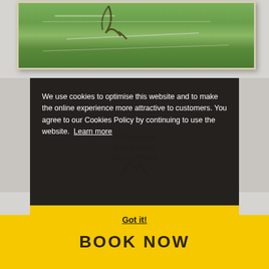[Figure (photo): Aerial or landscape photo of green terrain/field with stone paths, shown in a light wooden frame]
Gift vouchers
Sustainability
Be our Affiliate
We use cookies to optimise this website and to make the online experience more attractive to customers. You agree to our Cookies Policy by continuing to use the website. Learn more
Got it!
BOOK NOW